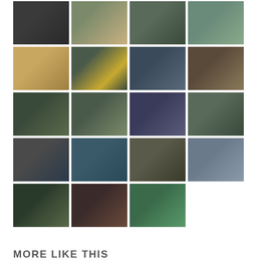[Figure (photo): Grid of 19 military/rescue operation photos showing soldiers working in water, on boats, with equipment, in muddy conditions. Photos appear to document a maritime salvage or rescue operation.]
MORE LIKE THIS